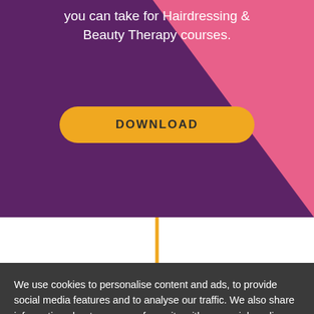you can take for Hairdressing & Beauty Therapy courses.
[Figure (other): Orange/yellow download button on purple and pink background with decorative triangle]
We use cookies to personalise content and ads, to provide social media features and to analyse our traffic. We also share information about your use of our site with our social media, advertising and analytics partners.
Cookies Settings
Accept All Cookies